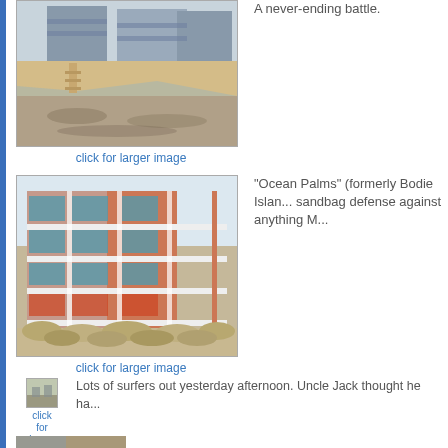[Figure (photo): Beach erosion photo showing houses on a sandy bluff with wooden stairs, eroded sand underneath]
click for larger image
A never-ending battle.
[Figure (photo): Ocean Palms (formerly Bodie Island) multi-story hotel building with sandbag defense at base]
click for larger image
"Ocean Palms" (formerly Bodie Islan... sandbag defense against anything M...
[Figure (photo): Small thumbnail image of surfers]
click
for
larger
image
Lots of surfers out yesterday afternoon. Uncle Jack thought he ha...
[Figure (photo): Partial bottom photo, partially visible]